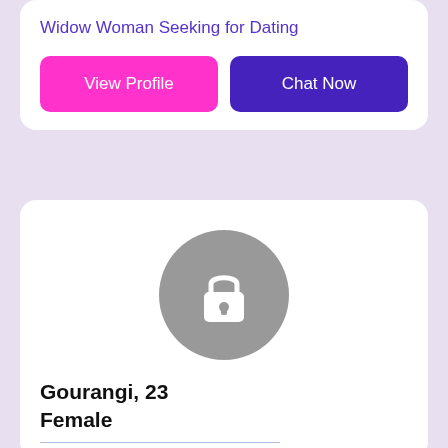Widow Woman Seeking for Dating
View Profile
Chat Now
[Figure (illustration): Gray circle with white lock icon representing a locked/private profile photo]
Gourangi, 23
Female
I am Widowed from Bhopal, India looking for I'll Know When I Find It
Widow Woman Seeking for Dating
View Profile
Chat Now